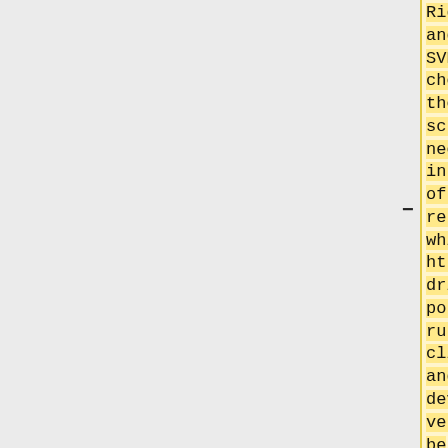Right-click and click SVN checkout. In the next screen you need to fill in the URL of the repository which is http://svn.vdrift.net/repos/vdrift/trunk. Simply click OK, and the development version will be downloaded. Next,